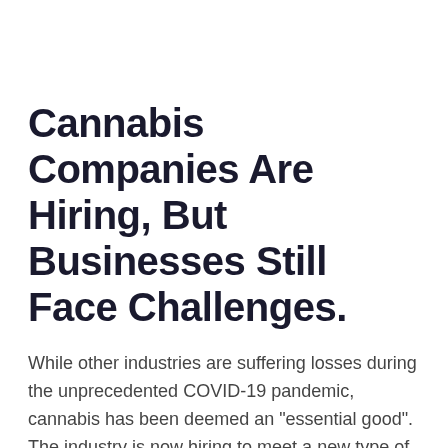Cannabis Companies Are Hiring, But Businesses Still Face Challenges.
While other industries are suffering losses during the unprecedented COVID-19 pandemic, cannabis has been deemed an "essential good". The industry is now hiring to meet a new type of demand.
By  Lindsey Bartlett
It's been a scary time for entrepreneurs in